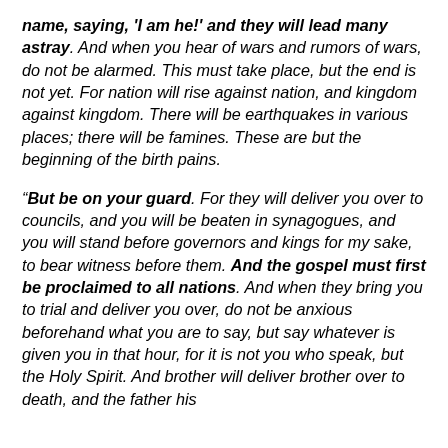name, saying, 'I am he!' and they will lead many astray. And when you hear of wars and rumors of wars, do not be alarmed. This must take place, but the end is not yet. For nation will rise against nation, and kingdom against kingdom. There will be earthquakes in various places; there will be famines. These are but the beginning of the birth pains.
“But be on your guard. For they will deliver you over to councils, and you will be beaten in synagogues, and you will stand before governors and kings for my sake, to bear witness before them. And the gospel must first be proclaimed to all nations. And when they bring you to trial and deliver you over, do not be anxious beforehand what you are to say, but say whatever is given you in that hour, for it is not you who speak, but the Holy Spirit. And brother will deliver brother over to death, and the father his